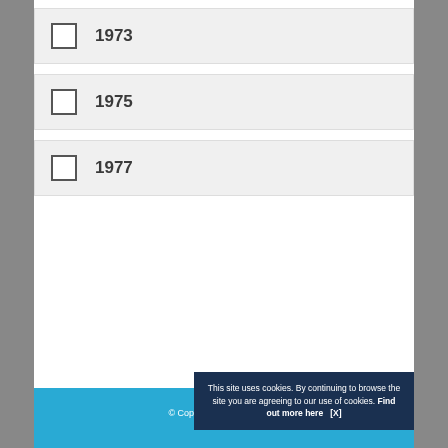1973
1975
1977
© Copyright ... images ...
This site uses cookies. By continuing to browse the site you are agreeing to our use of cookies. Find out more here   [X]